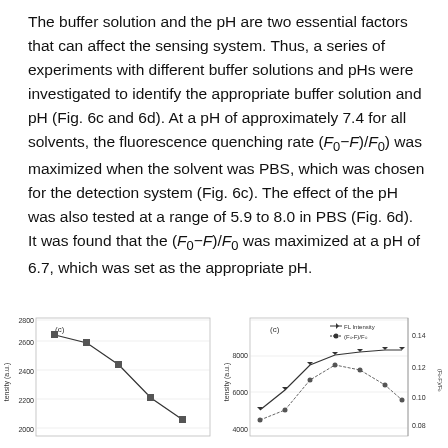The buffer solution and the pH are two essential factors that can affect the sensing system. Thus, a series of experiments with different buffer solutions and pHs were investigated to identify the appropriate buffer solution and pH (Fig. 6c and 6d). At a pH of approximately 7.4 for all solvents, the fluorescence quenching rate (F0−F)/F0) was maximized when the solvent was PBS, which was chosen for the detection system (Fig. 6c). The effect of the pH was also tested at a range of 5.9 to 8.0 in PBS (Fig. 6d). It was found that the (F0−F)/F0 was maximized at a pH of 6.7, which was set as the appropriate pH.
[Figure (continuous-plot): Left chart (c) showing FL intensity (a.u.) vs buffer solution type, y-axis from 2000 to 2800, with data points connected by lines showing a decreasing trend.]
[Figure (continuous-plot): Right chart (c) showing FL Intensity and (F0-F)/F0 vs pH range 5.9 to 8.0 in PBS, dual y-axes, with two series of data points connected by lines.]